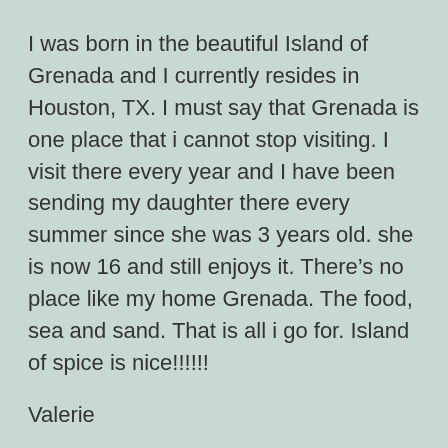I was born in the beautiful Island of Grenada and I currently resides in Houston, TX. I must say that Grenada is one place that i cannot stop visiting. I visit there every year and I have been sending my daughter there every summer since she was 3 years old. she is now 16 and still enjoys it. There’s no place like my home Grenada. The food, sea and sand. That is all i go for. Island of spice is nice!!!!!!
Valerie
Reply